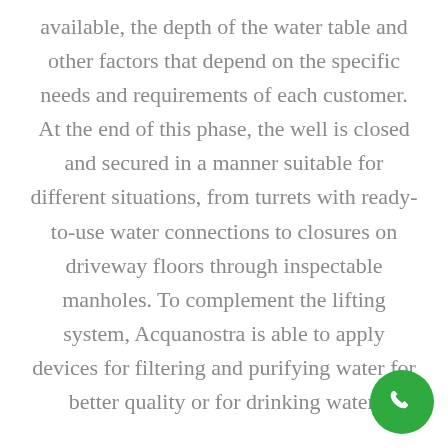available, the depth of the water table and other factors that depend on the specific needs and requirements of each customer. At the end of this phase, the well is closed and secured in a manner suitable for different situations, from turrets with ready-to-use water connections to closures on driveway floors through inspectable manholes. To complement the lifting system, Acquanostra is able to apply devices for filtering and purifying water for better quality or for drinking water.
[Figure (other): Green circular phone/call button icon in the bottom-right corner]